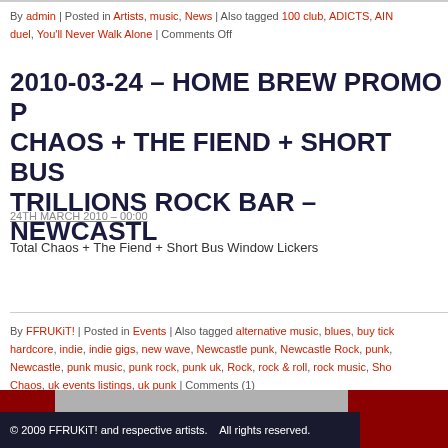By admin | Posted in Artists, music, News | Also tagged 100 club, ADICTS, AIN… duel, You'll Never Walk Alone | Comments Off
2010-03-24 – HOME BREW PROMO P… CHAOS + THE FIEND + SHORT BUS … TRILLIONS ROCK BAR – NEWCASTL…
24TH MARCH 2010 – 00:00
Total Chaos + The Fiend + Short Bus Window Lickers
By FFRUKiT! | Posted in Events | Also tagged alternative music, blues, buy tick… hardcore, indie, indie gigs, new wave, Newcastle punk, Newcastle Rock, punk,… Newcastle, punk music, punk rock, punk uk, Rock, rock & roll, rock music, Sho… Chaos, uk events listings, uk punk | Comments (1)
© 2009 FFRUKiT! and respective artists.    All rights reserved.